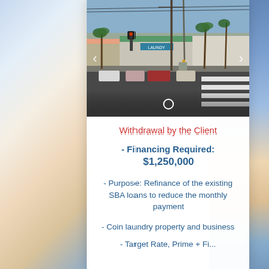[Figure (photo): Street-level photo of a coin laundry commercial property with palm trees, traffic lights, and a crosswalk visible. A carousel dot indicator is shown at the bottom with left and right navigation arrows.]
Withdrawal by the Client
- Financing Required: $1,250,000
- Purpose: Refinance of the existing SBA loans to reduce the monthly payment
- Coin laundry property and business
- Target Rate, Prime + Fixed...